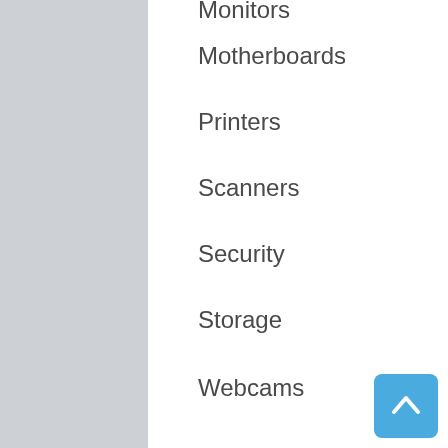Monitors
Motherboards
Printers
Scanners
Security
Storage
Webcams
Electronics
Automotive
Charging & Power
Drones
GPS & Rangefinders
Power Banks
Translators
Gaming